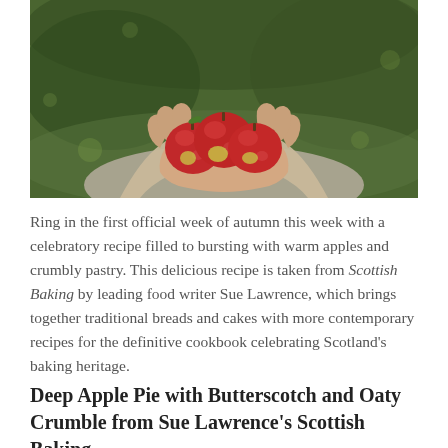[Figure (photo): Close-up photograph of two hands cupping several small red apples, with a blurred green outdoor background. The person is wearing a grey patterned sweater.]
Ring in the first official week of autumn this week with a celebratory recipe filled to bursting with warm apples and crumbly pastry. This delicious recipe is taken from Scottish Baking by leading food writer Sue Lawrence, which brings together traditional breads and cakes with more contemporary recipes for the definitive cookbook celebrating Scotland's baking heritage.
Deep Apple Pie with Butterscotch and Oaty Crumble from Sue Lawrence's Scottish Baking